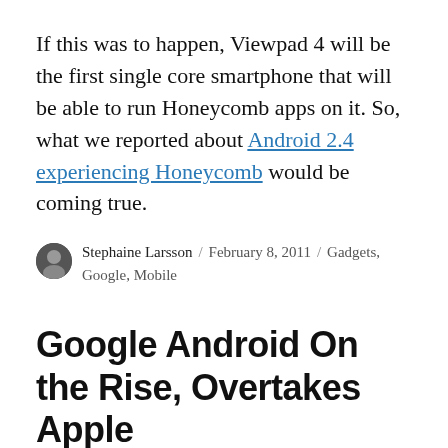If this was to happen, Viewpad 4 will be the first single core smartphone that will be able to run Honeycomb apps on it. So, what we reported about Android 2.4 experiencing Honeycomb would be coming true.
Stephaine Larsson / February 8, 2011 / Gadgets, Google, Mobile
Google Android On the Rise, Overtakes Apple
In an earlier news, we reported that the Google OS has overtaken Nokia's Symbian to become the world's most popular phone OS. A dotcom